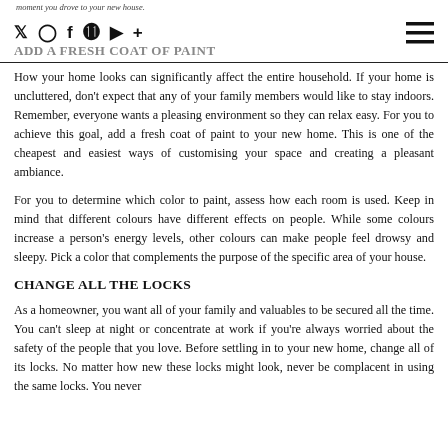moment you drove to your new house.
ADD A FRESH COAT OF PAINT
How your home looks can significantly affect the entire household. If your home is uncluttered, don't expect that any of your family members would like to stay indoors. Remember, everyone wants a pleasing environment so they can relax easy. For you to achieve this goal, add a fresh coat of paint to your new home. This is one of the cheapest and easiest ways of customising your space and creating a pleasant ambiance.
For you to determine which color to paint, assess how each room is used. Keep in mind that different colours have different effects on people. While some colours increase a person's energy levels, other colours can make people feel drowsy and sleepy. Pick a color that complements the purpose of the specific area of your house.
CHANGE ALL THE LOCKS
As a homeowner, you want all of your family and valuables to be secured all the time. You can't sleep at night or concentrate at work if you're always worried about the safety of the people that you love. Before settling in to your new home, change all of its locks. No matter how new these locks might look, never be complacent in using the same locks. You never